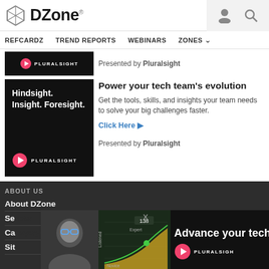DZone.
REFCARDZ  TREND REPORTS  WEBINARS  ZONES
[Figure (screenshot): Pluralsight logo banner ad (top, small)]
Presented by Pluralsight
[Figure (screenshot): Pluralsight black banner ad with text: Hindsight. Insight. Foresight.]
Power your tech team's evolution
Get the tools, skills, and insights your team needs to solve your big challenges faster.
Click Here ▶
Presented by Pluralsight
ABOUT US
About DZone
Se...
Ca...
Sit...
[Figure (screenshot): Overlay ad: Advance your tech sh... Pluralsight]
ADVERTISE